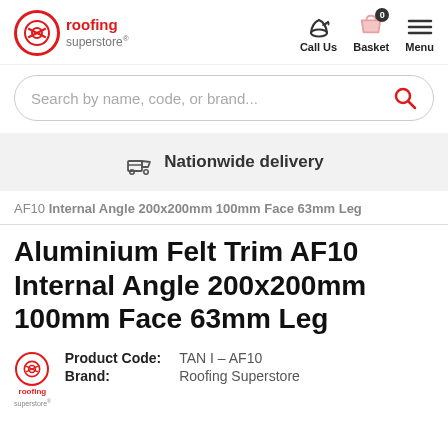roofing superstore — Call Us | Basket 0 | Menu
Search by name, code, or brand...
Nationwide delivery
AF10 Internal Angle 200x200mm 100mm Face 63mm Leg
Aluminium Felt Trim AF10 Internal Angle 200x200mm 100mm Face 63mm Leg
Product Code: TAN I – AF10
Brand: Roofing Superstore